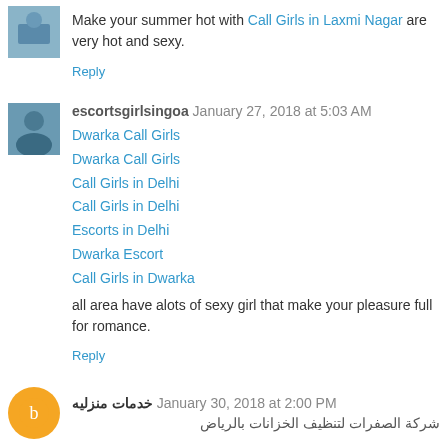Make your summer hot with Call Girls in Laxmi Nagar are very hot and sexy.
Reply
escortsgirlsingoa January 27, 2018 at 5:03 AM
Dwarka Call Girls
Dwarka Call Girls
Call Girls in Delhi
Call Girls in Delhi
Escorts in Delhi
Dwarka Escort
Call Girls in Dwarka
all area have alots of sexy girl that make your pleasure full for romance.
Reply
خدمات منزليه January 30, 2018 at 2:00 PM
شركة الصفرات لتنظيف الخزانات بالرياض